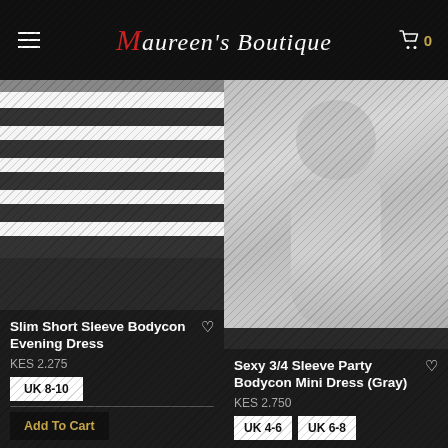Maureen's Boutique
[Figure (photo): Slim Short Sleeve Bodycon Evening Dress - black and white horizontal stripes, shown front and back view]
Slim Short Sleeve Bodycon Evening Dress
KES 2.275
UK 8-10
Add To Cart
[Figure (photo): Sexy 3/4 Sleeve Party Bodycon Mini Dress in Gray - woman taking mirror selfie wearing gray flared mini dress with gold watch]
Sexy 3/4 Sleeve Party Bodycon Mini Dress (Gray)
KES 2.750
UK 4-6
UK 6-8